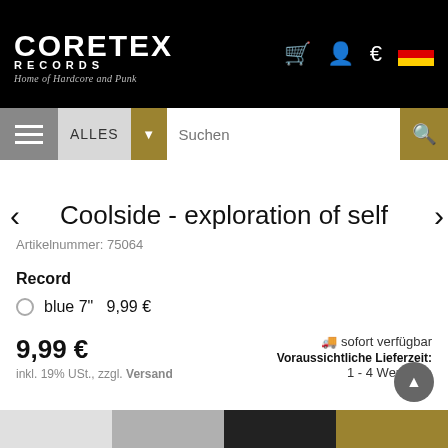Coretex Records - Home of Hardcore and Punk
Coolside - exploration of self
Artikelnummer: 75064
Record
blue 7"   9,99 €
9,99 €
inkl. 19% USt., zzgl. Versand
sofort verfügbar
Voraussichtliche Lieferzeit:
1 - 4 Werktage